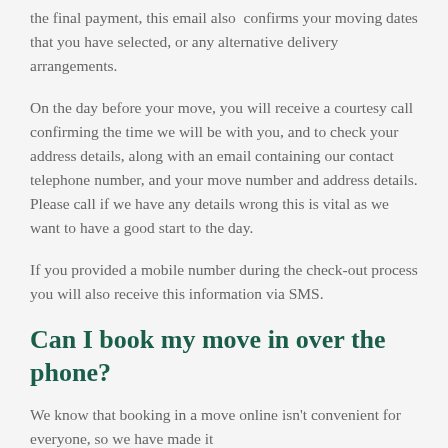the final payment, this email also confirms your moving dates that you have selected, or any alternative delivery arrangements.
On the day before your move, you will receive a courtesy call confirming the time we will be with you, and to check your address details, along with an email containing our contact telephone number, and your move number and address details. Please call if we have any details wrong this is vital as we want to have a good start to the day.
If you provided a mobile number during the check-out process you will also receive this information via SMS.
Can I book my move in over the phone?
We know that booking in a move online isn't convenient for everyone, so we have made it